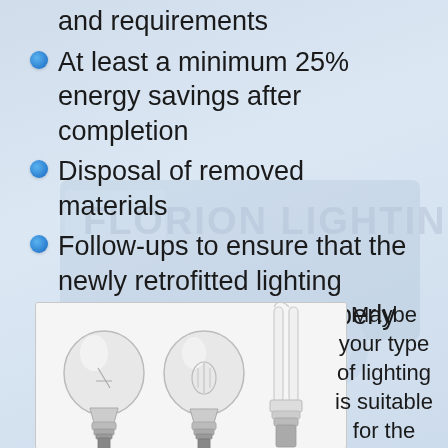and requirements
At least a minimum 25% energy savings after completion
Disposal of removed materials
Follow-ups to ensure that the newly retrofitted lighting system is operating properly
[Figure (photo): Three light bulbs: two incandescent/halogen bulbs and one CFL (compact fluorescent) tube bulb, arranged side by side against a white background in a framed photo box]
Maybe your type of lighting is suitable for the